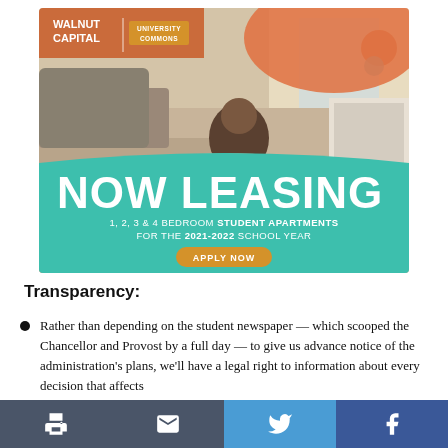[Figure (illustration): Walnut Capital University Commons advertisement. Shows a student apartment room with a woman reading. Text overlay: NOW LEASING, 1, 2, 3 & 4 BEDROOM STUDENT APARTMENTS FOR THE 2021-2022 SCHOOL YEAR, APPLY NOW button. Logo: WALNUT CAPITAL | UNIVERSITY COMMONS.]
Transparency:
Rather than depending on the student newspaper — which scooped the Chancellor and Provost by a full day — to give us advance notice of the administration's plans, we'll have a legal right to information about every decision that affects